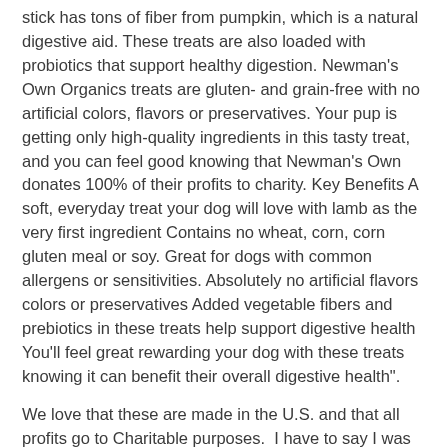stick has tons of fiber from pumpkin, which is a natural digestive aid. These treats are also loaded with probiotics that support healthy digestion. Newman's Own Organics treats are gluten- and grain-free with no artificial colors, flavors or preservatives. Your pup is getting only high-quality ingredients in this tasty treat, and you can feel good knowing that Newman's Own donates 100% of their profits to charity. Key Benefits A soft, everyday treat your dog will love with lamb as the very first ingredient Contains no wheat, corn, corn gluten meal or soy. Great for dogs with common allergens or sensitivities. Absolutely no artificial flavors colors or preservatives Added vegetable fibers and prebiotics in these treats help support digestive health You'll feel great rewarding your dog with these treats knowing it can benefit their overall digestive health".
We love that these are made in the U.S. and that all profits go to Charitable purposes.  I have to say I was very excited that Hunter really loves these, because in the past he hasn't been willing to eat any Lamb products at all.  Probiotics are so good for us, as well as for our pets and I think it's an added benefit, as well as the Pumpkin.